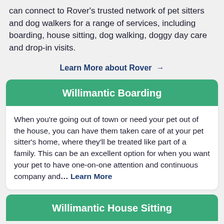can connect to Rover's trusted network of pet sitters and dog walkers for a range of services, including boarding, house sitting, dog walking, doggy day care and drop-in visits.
Learn More about Rover →
Willimantic Boarding
When you're going out of town or need your pet out of the house, you can have them taken care of at your pet sitter's home, where they'll be treated like part of a family. This can be an excellent option for when you want your pet to have one-on-one attention and continuous company and... Learn More
Willimantic House Sitting